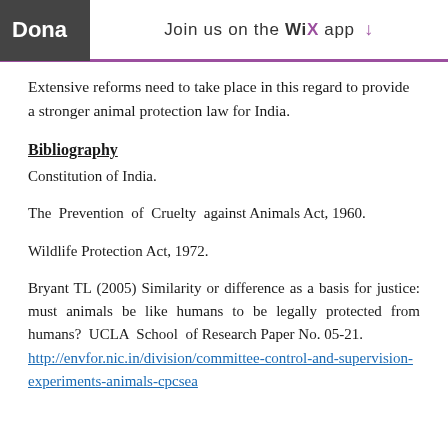Donate | Join us on the WiX app
Extensive reforms need to take place in this regard to provide a stronger animal protection law for India.
Bibliography
Constitution of India.
The Prevention of Cruelty against Animals Act, 1960.
Wildlife Protection Act, 1972.
Bryant TL (2005) Similarity or difference as a basis for justice: must animals be like humans to be legally protected from humans? UCLA School of Research Paper No. 05-21.
http://envfor.nic.in/division/committee-control-and-supervision-experiments-animals-cpcsea